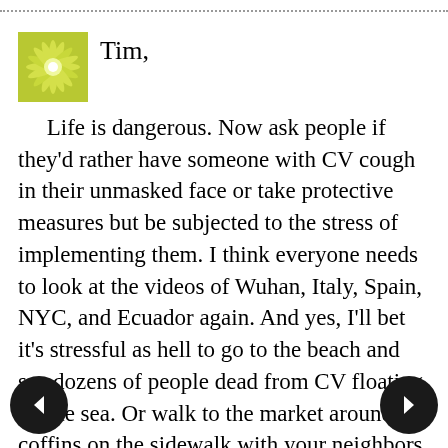[Figure (illustration): Decorative green/yellow snowflake or starburst avatar icon]
Tim,
Life is dangerous. Now ask people if they'd rather have someone with CV cough in their unmasked face or take protective measures but be subjected to the stress of implementing them. I think everyone needs to look at the videos of Wuhan, Italy, Spain, NYC, and Ecuador again. And yes, I'll bet it's stressful as hell to go to the beach and see dozens of people dead from CV floating on the sea. Or walk to the market around coffins on the sidewalk with your neighbors inside for days at a time. Be unable to get medical care as your relatives choke to death. Would that be more or less stressful than being in quarantine, forced to read and watch videos